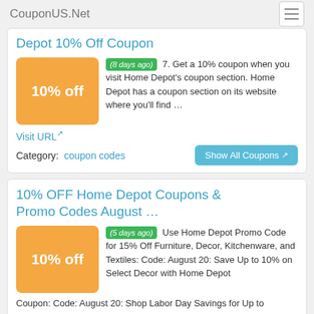CouponUS.Net
Depot 10% Off Coupon
(8 days ago) 7. Get a 10% coupon when you visit Home Depot's coupon section. Home Depot has a coupon section on its website where you'll find …
Visit URL
Category:  coupon codes
10% OFF Home Depot Coupons & Promo Codes August …
(5 days ago) Use Home Depot Promo Code for 15% Off Furniture, Decor, Kitchenware, and Textiles: Code: August 20: Save Up to 10% on Select Decor with Home Depot Coupon: Code: August 20: Shop Labor Day Savings for Up to